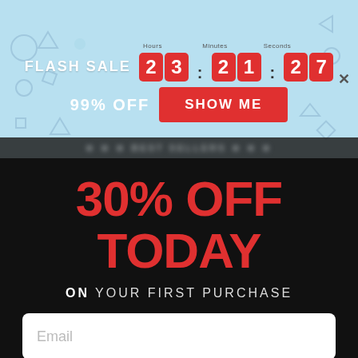[Figure (screenshot): Flash sale banner with countdown timer showing 23:21:27 (Hours, Minutes, Seconds), 99% OFF text, and SHOW ME button on light blue background with geometric shapes]
30% OFF TODAY
ON YOUR FIRST PURCHASE
Email (input field placeholder)
YES PLEASE
DECLINE ONE TIME OFFER